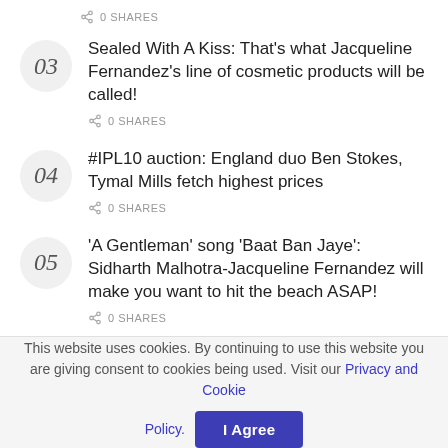0 SHARES
Sealed With A Kiss: That's what Jacqueline Fernandez's line of cosmetic products will be called!
0 SHARES
#IPL10 auction: England duo Ben Stokes, Tymal Mills fetch highest prices
0 SHARES
'A Gentleman' song 'Baat Ban Jaye': Sidharth Malhotra-Jacqueline Fernandez will make you want to hit the beach ASAP!
0 SHARES
This website uses cookies. By continuing to use this website you are giving consent to cookies being used. Visit our Privacy and Cookie Policy.